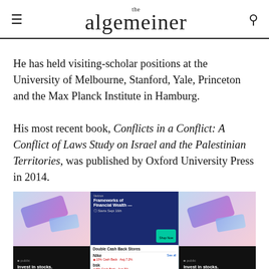the algemeiner
He has held visiting-scholar positions at the University of Melbourne, Stanford, Yale, Princeton and the Max Planck Institute in Hamburg.
His most recent book, Conflicts in a Conflict: A Conflict of Laws Study on Israel and the Palestinian Territories, was published by Oxford University Press in 2014.
[Figure (photo): Advertisement showing three smartphone screens for the Public investing app and a double cash back store promotion.]